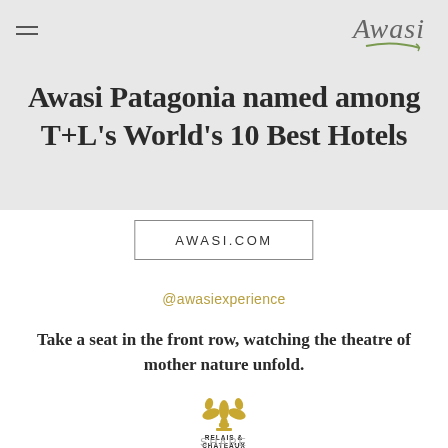[Figure (logo): Awasi handwritten logo with small green leaf/swoosh underneath, top right corner]
Awasi Patagonia named among T+L's World's 10 Best Hotels
AWASI.COM
@awasiexperience
Take a seat in the front row, watching the theatre of mother nature unfold.
[Figure (logo): Relais & Chateaux golden fleur-de-lis logo with text RELAIS & CHATEAUX below]
SHARE